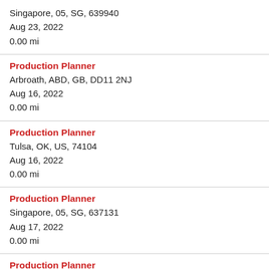Singapore, 05, SG, 639940
Aug 23, 2022
0.00 mi
Production Planner
Arbroath, ABD, GB, DD11 2NJ
Aug 16, 2022
0.00 mi
Production Planner
Tulsa, OK, US, 74104
Aug 16, 2022
0.00 mi
Production Planner
Singapore, 05, SG, 637131
Aug 17, 2022
0.00 mi
Production Planner
Singapore, 05, SG, 637131
Aug 30, 2022